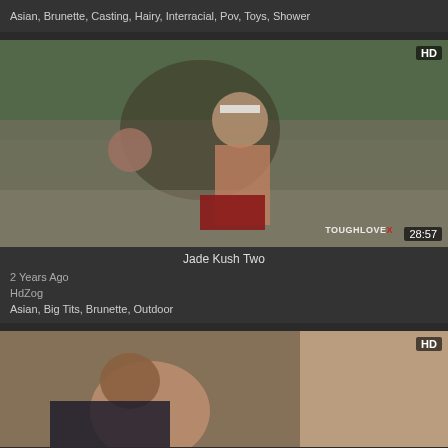Asian, Brunette, Casting, Hairy, Interracial, Pov, Toys, Shower
[Figure (photo): Video thumbnail showing outdoor scene with ToughLoveX watermark, duration 28:57, HD badge]
Jade Kush Two
2 Years Ago
HdZog
Asian, Big Tits, Brunette, Outdoor
[Figure (photo): Video thumbnail showing outdoor scene, HD badge]